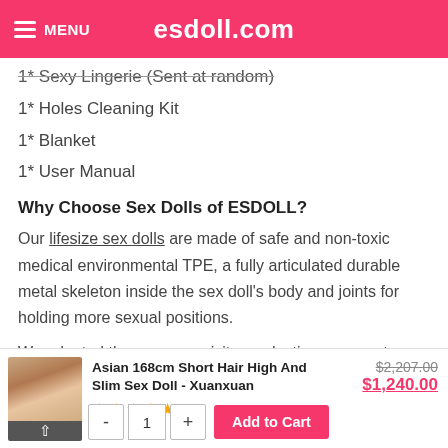MENU  esdoll.com
1* Sexy Lingerie (Sent at random)
1* Holes Cleaning Kit
1* Blanket
1* User Manual
Why Choose Sex Dolls of ESDOLL?
Our lifesize sex dolls are made of safe and non-toxic medical environmental TPE, a fully articulated durable metal skeleton inside the sex doll’s body and joints for holding more sexual positions.
We adopted the more exquisite production process to imitation the real touch. The sex doll not only has the figure of a supermodel, but
[Figure (other): Product sticky bar: thumbnail image of Asian 168cm Short Hair High And Slim Sex Doll - Xuanxuan, star rating 5 stars (3 reviews), original price $2,207.00 struck through, sale price $1,240.00 in pink, quantity selector with - 1 + buttons, and Add to Cart pink button]